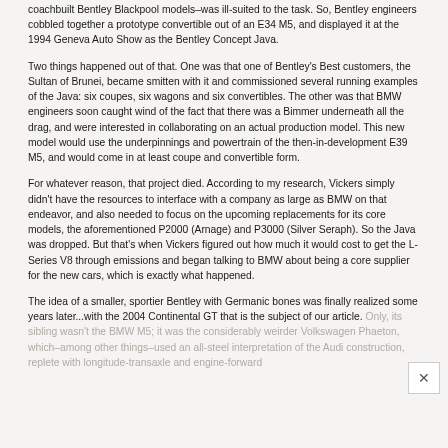coachbuilt Bentley Blackpool models–was ill-suited to the task. So, Bentley engineers cobbled together a prototype convertible out of an E34 M5, and displayed it at the 1994 Geneva Auto Show as the Bentley Concept Java.
Two things happened out of that. One was that one of Bentley's Best customers, the Sultan of Brunei, became smitten with it and commissioned several running examples of the Java: six coupes, six wagons and six convertibles. The other was that BMW engineers soon caught wind of the fact that there was a Bimmer underneath all the drag, and were interested in collaborating on an actual production model. This new model would use the underpinnings and powertrain of the then-in-development E39 M5, and would come in at least coupe and convertible form.
For whatever reason, that project died. According to my research, Vickers simply didn't have the resources to interface with a company as large as BMW on that endeavor, and also needed to focus on the upcoming replacements for its core models, the aforementioned P2000 (Arnage) and P3000 (Silver Seraph). So the Java was dropped. But that's when Vickers figured out how much it would cost to get the L-Series V8 through emissions and began talking to BMW about being a core supplier for the new cars, which is exactly what happened.
The idea of a smaller, sportier Bentley with Germanic bones was finally realized some years later...with the 2004 Continental GT that is the subject of our article. Only, its sibling wasn't the BMW M5; it was the considerably weirder Volkswagen Phaeton, which–among other things–used an all-steel interpretation of the Audi construction, replete with longitude-transaxle and engine-forward